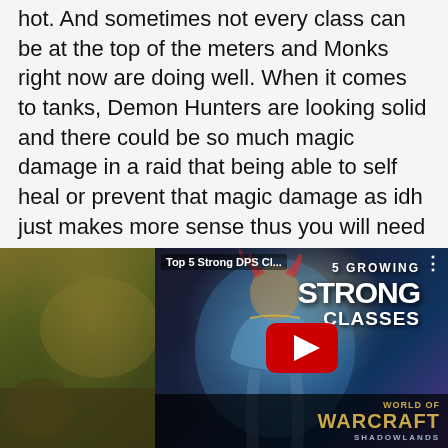hot. And sometimes not every class can be at the top of the meters and Monks right now are doing well. When it comes to tanks, Demon Hunters are looking solid and there could be so much magic damage in a raid that being able to self heal or prevent that magic damage as idh just makes more sense thus you will need a Monk for that. Monk buff combined with the fact that Monks can do damage and the massive toolkit, they are great in single target, AOE, cleave. There is so much niche in terms of the variety of damage output they can put in
[Figure (screenshot): Left side: a dark outdoor scene with greenish-brown landscape. Right side: a World of Warcraft YouTube video thumbnail showing a character in blue/gold armor with text '5 GROWING STRONG CLASSES', a YouTube play button, and 'WORLD OF WARCRAFT SHADOWLANDS' branding at the bottom. Title overlay reads 'Top 5 Strong DPS Cl...']